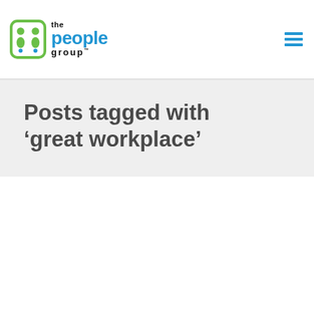[Figure (logo): The People Group logo with stylized green and blue figures icon and text]
Posts tagged with ‘great workplace’